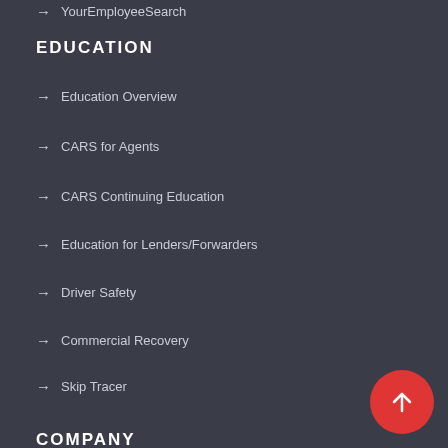→ YourEmployeeSearch
EDUCATION
→ Education Overview
→ CARS for Agents
→ CARS Continuing Education
→ Education for Lenders/Forwarders
→ Driver Safety
→ Commercial Recovery
→ Skip Tracer
COMPANY
→ About